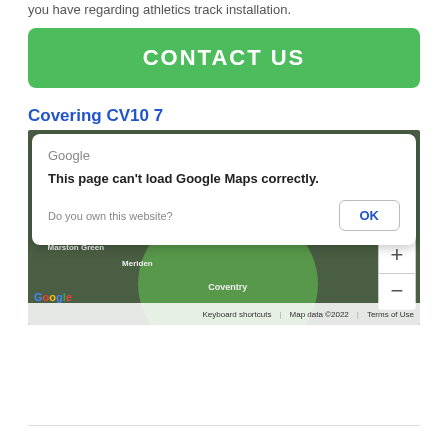you have regarding athletics track installation.
[Figure (other): Green 'CONTACT US' button]
Covering CV10 7
[Figure (map): Google Maps screenshot with error dialog: 'This page can't load Google Maps correctly.' with OK button, showing map area around Coventry, Bedworth, Exhall, Marston Green, Meriden with a green circle overlay. Map data ©2022. Keyboard shortcuts | Map data ©2022 | Terms of Use]